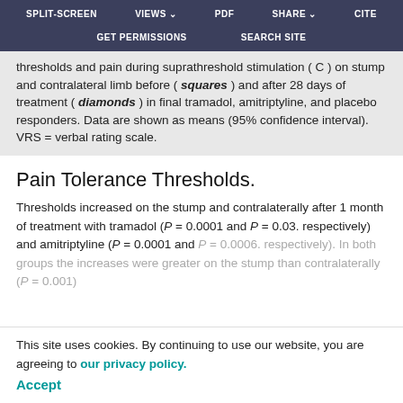SPLIT-SCREEN  VIEWS  PDF  SHARE  CITE  GET PERMISSIONS  SEARCH SITE
thresholds and pain during suprathreshold stimulation ( C ) on stump and contralateral limb before ( squares ) and after 28 days of treatment ( diamonds ) in final tramadol, amitriptyline, and placebo responders. Data are shown as means (95% confidence interval). VRS = verbal rating scale.
Pain Tolerance Thresholds.
Thresholds increased on the stump and contralaterally after 1 month of treatment with tramadol (P = 0.0001 and P = 0.03. respectively) and amitriptyline (P = 0.0001 and P = 0.0006. respectively). In both groups the increases were greater on the stump than contralaterally (P = 0.001 and P = 0.01). Trends were similar in the placebo responder group. The mean absolute differences in pain tolerance
This site uses cookies. By continuing to use our website, you are agreeing to our privacy policy. Accept